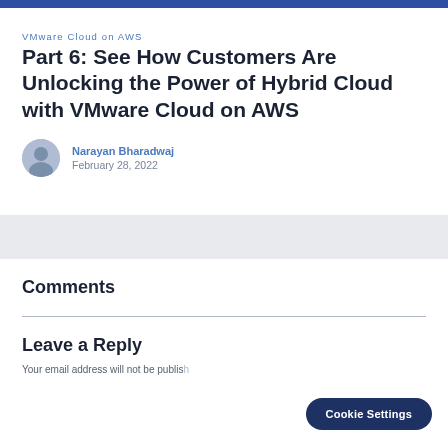VMware Cloud on AWS
Part 6: See How Customers Are Unlocking the Power of Hybrid Cloud with VMware Cloud on AWS
Narayan Bharadwaj
February 28, 2022
Comments
Leave a Reply
Your email address will not be published.